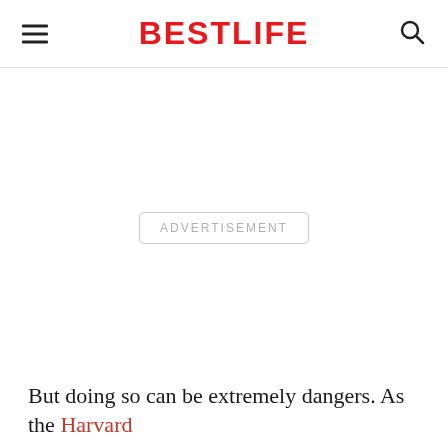BESTLIFE
[Figure (other): Advertisement placeholder area (blank white space with ADVERTISEMENT label)]
But doing so can be extremely dangers. As the Harvard